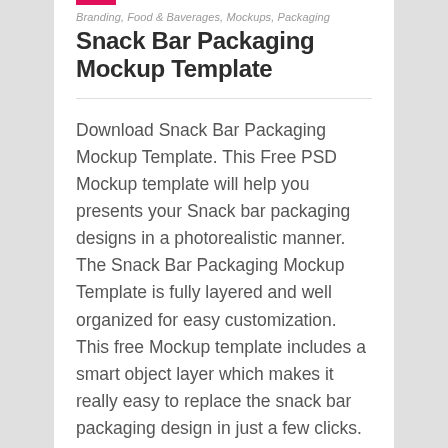Branding, Food & Baverages, Mockups, Packaging
Snack Bar Packaging Mockup Template
Download Snack Bar Packaging Mockup Template. This Free PSD Mockup template will help you presents your Snack bar packaging designs in a photorealistic manner. The Snack Bar Packaging Mockup Template is fully layered and well organized for easy customization. This free Mockup template includes a smart object layer which makes it really easy to replace the snack bar packaging design in just a few clicks. The shadow is placed on individual layers making it very easy to modify or remove it completely.